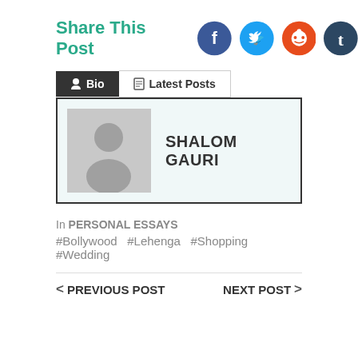Share This Post
[Figure (infographic): Social share icons: Facebook (blue circle), Twitter (light blue circle), Reddit (red circle), Tumblr (dark navy circle)]
Bio | Latest Posts
[Figure (photo): Default gray avatar placeholder with person silhouette]
SHALOM GAURI
In PERSONAL ESSAYS
#Bollywood  #Lehenga  #Shopping  #Wedding
< PREVIOUS POST
NEXT POST >